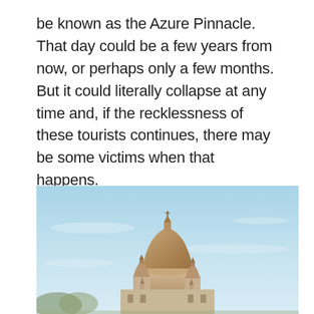be known as the Azure Pinnacle. That day could be a few years from now, or perhaps only a few months. But it could literally collapse at any time and, if the recklessness of these tourists continues, there may be some victims when that happens.
[Figure (photo): A photo of a large ornate domed building or cathedral against a pale blue sky, with smaller spires and architectural details visible around the central dome.]